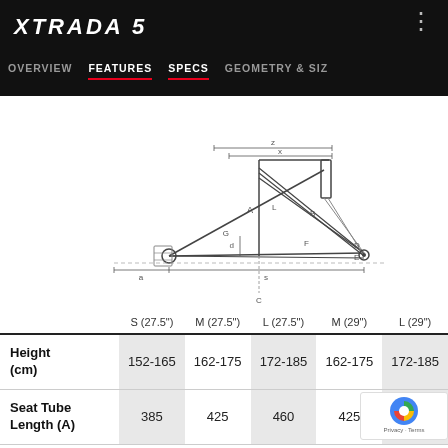XTRADA 5
OVERVIEW   FEATURES   SPECS   GEOMETRY & SIZ
[Figure (engineering-diagram): Bicycle frame geometry diagram with labeled dimensions A through G showing seat tube length, top tube, head tube, chainstay, wheelbase and other frame measurements on a line drawing of a mountain bike frame.]
|  | S (27.5") | M (27.5") | L (27.5") | M (29") | L (29") |
| --- | --- | --- | --- | --- | --- |
| Height (cm) | 152-165 | 162-175 | 172-185 | 162-175 | 172-185 |
| Seat Tube Length (A) | 385 | 425 | 460 | 425 |  |